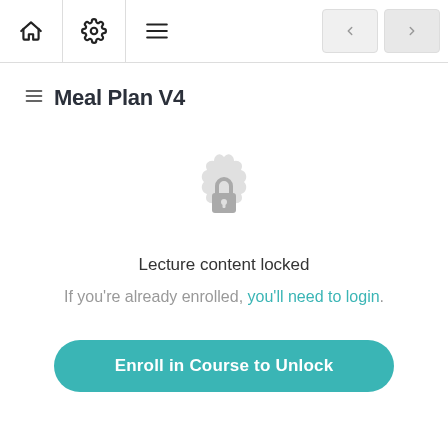Navigation bar with home, settings, menu icons and back/forward buttons
Meal Plan V4
[Figure (illustration): Locked badge icon — circular badge with a padlock in the center, light grey color]
Lecture content locked
If you're already enrolled, you'll need to login.
Enroll in Course to Unlock